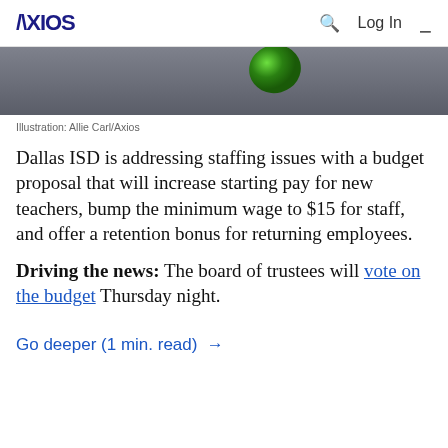AXIOS | Q  Log In  ≡
[Figure (photo): Partial image of a green object on a dark grey background — appears to be an illustration used for an Axios article about Dallas ISD staffing.]
Illustration: Allie Carl/Axios
Dallas ISD is addressing staffing issues with a budget proposal that will increase starting pay for new teachers, bump the minimum wage to $15 for staff, and offer a retention bonus for returning employees.
Driving the news: The board of trustees will vote on the budget Thursday night.
Go deeper (1 min. read) →